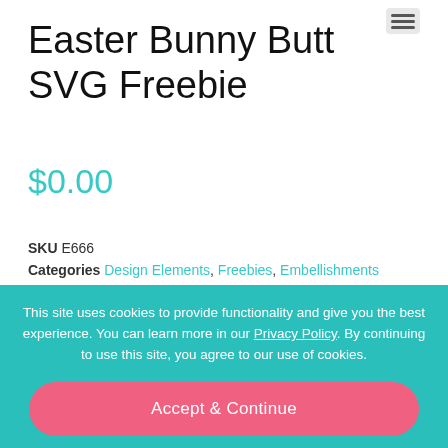Easter Bunny Butt SVG Freebie
$0.00
SKU E666
Categories Design Elements, Freebies, Embellishments
Add to Wish List
This site uses cookies to provide functionality and give you the best experience. You can learn more in our Privacy Policy. By continuing to use this site, you agree to our use of cookies.
Accept & Continue